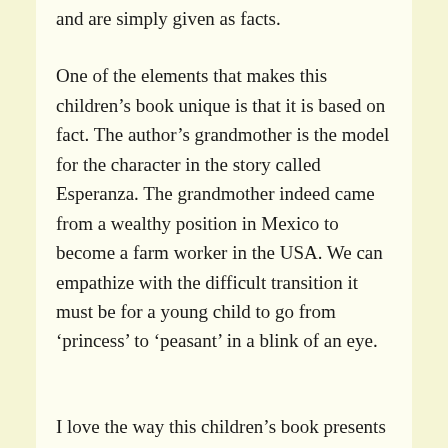and are simply given as facts.
One of the elements that makes this children’s book unique is that it is based on fact. The author’s grandmother is the model for the character in the story called Esperanza. The grandmother indeed came from a wealthy position in Mexico to become a farm worker in the USA. We can empathize with the difficult transition it must be for a young child to go from ‘princess’ to ‘peasant’ in a blink of an eye.
I love the way this children’s book presents the inner moral development of a child attempting a new life. There is a lot to learn from reading stories like this. I recommend the book for any age over 9, and it can serve as a text for a classroom as well. I particularly